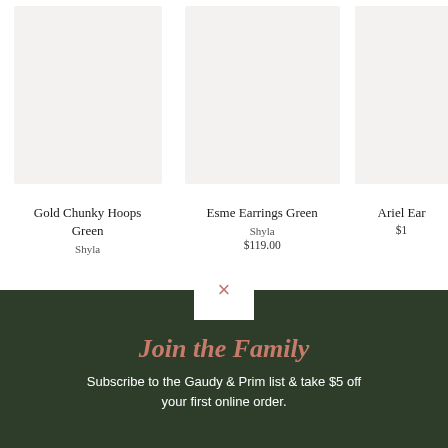[Figure (photo): Product image placeholder for Gold Chunky Hoops Green — light beige/gray rectangle]
Gold Chunky Hoops Green
Shyla
[Figure (photo): Product image placeholder for Esme Earrings Green — light beige/gray rectangle]
Esme Earrings Green
Shyla
$119.00
[Figure (photo): Product image placeholder for Ariel Earrings — partially visible, light beige/gray rectangle]
Ariel Ear…
$1…
[Figure (screenshot): Modal popup on dark green background with close (×) button, title 'Join the Family', and subscription text]
Join the Family
Subscribe to the Gaudy & Prim list & take $5 off your first online order.